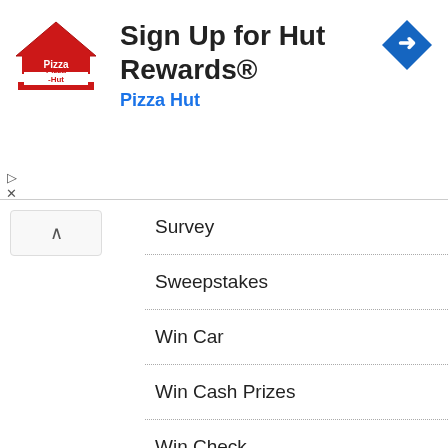[Figure (logo): Pizza Hut logo with red roof/hat and text 'Pizza Hut']
Sign Up for Hut Rewards®
Pizza Hut
[Figure (other): Blue diamond navigation arrow icon]
Survey
Sweepstakes
Win Car
Win Cash Prizes
Win Check
Win Game
Win Gift Card
Win Home
Win Prize
Win Tickets